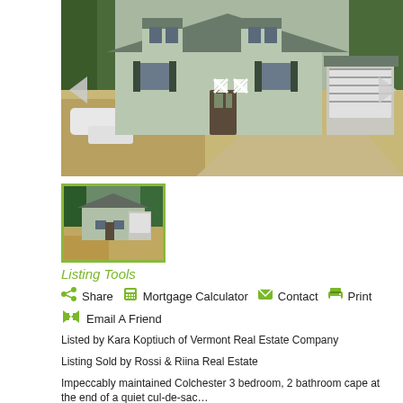[Figure (photo): Main exterior photo of a Cape-style house with garage, gravel driveway, and dormers, with expand icon overlay and navigation arrows]
[Figure (photo): Thumbnail of the same Cape-style house exterior from a slightly different angle, with green border indicating selected state]
Listing Tools
Share   Mortgage Calculator   Contact   Print
Email A Friend
Listed by Kara Koptiuch of Vermont Real Estate Company
Listing Sold by Rossi & Riina Real Estate
Impeccably maintained Colchester 3 bedroom, 2 bathroom cape at the end of a quiet cul-de-sac...